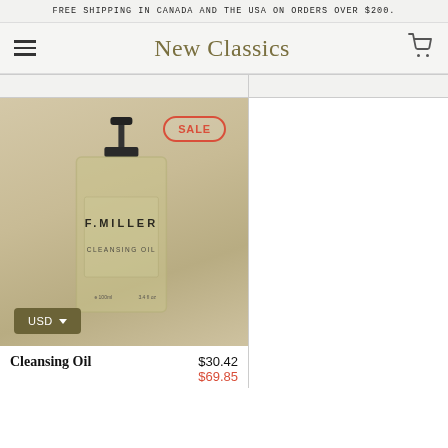FREE SHIPPING IN CANADA AND THE USA ON ORDERS OVER $200.
New Classics
[Figure (photo): F. Miller Cleansing Oil product bottle with black pump top, label reading F.MILLER CLEANSING OIL, on warm beige background. Red SALE badge in top right corner.]
USD
Cleansing Oil
$30.42
$69.85